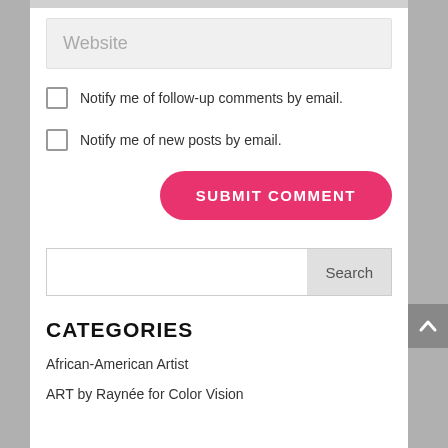Website
Notify me of follow-up comments by email.
Notify me of new posts by email.
SUBMIT COMMENT
Search
CATEGORIES
African-American Artist
ART by Raynée for Color Vision